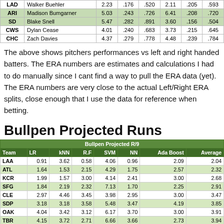| Team | Pitcher | ERA-L | BAA-L | OPS-L | ERA-R | BAA-R | OPS-R |
| --- | --- | --- | --- | --- | --- | --- | --- |
| LAD | Walker Buehler | 2.23 | .176 | .520 | 2.11 | .205 | .593 |
| ARI | Madison Bumgarner | 5.03 | .243 | .726 | 6.41 | .208 | .720 |
| SD | Blake Snell | 5.47 | .282 | .891 | 3.60 | .156 | .504 |
| CWS | Dylan Cease | 4.01 | .240 | .683 | 3.73 | .215 | .645 |
| CHC | Zach Davies | 4.37 | .279 | .778 | 4.48 | .239 | .784 |
The above shows pitchers performances vs left and right handed batters. The ERA numbers are estimates and calculations I had to do manually since I cant find a way to pull the ERA data (yet). The ERA numbers are very close to the actual Left/Right ERA splits, close enough that I use the data for reference when betting.
Bullpen Projected Runs
| Team | LR | kNN | R.F | SVM | NN | Ada Boost | Average |
| --- | --- | --- | --- | --- | --- | --- | --- |
| LAA | 0.91 | 3.62 | 0.58 | 4.06 | 0.96 | 2.09 | 2.04 |
| ATL | 1.64 | 1.53 | 2.15 | 4.29 | 1.75 | 2.57 | 2.32 |
| KCR | 1.99 | 1.57 | 3.00 | 4.14 | 2.41 | 3.00 | 2.68 |
| SFG | 1.84 | 2.19 | 2.32 | 7.13 | 1.70 | 2.25 | 2.91 |
| CLE | 2.97 | 4.46 | 3.45 | 3.98 | 2.95 | 3.00 | 3.47 |
| SDP | 3.18 | 3.18 | 3.58 | 5.48 | 3.47 | 4.19 | 3.85 |
| OAK | 4.04 | 3.42 | 3.12 | 6.17 | 3.70 | 3.00 | 3.91 |
| TBR | 4.15 | 3.72 | 2.71 | 6.66 | 3.66 | 2.73 | 3.94 |
| HOU | 5.05 | 4.17 | 3.20 | 4.43 | 4.71 | 2.90 | 4.08 |
| DET | 3.57 | 4.47 | 3.80 | 5.42 | 3.89 | 3.46 | 4.10 |